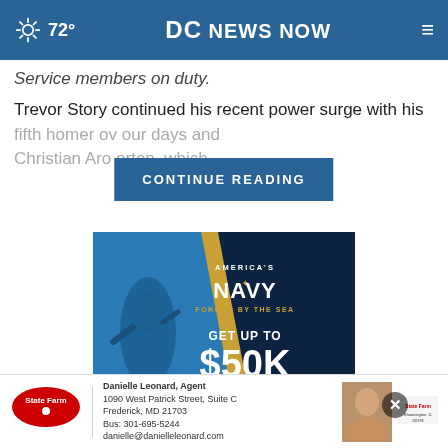72° DC NEWS NOW
Service members on duty.
Trevor Story continued his recent power surge with his fifth homer over our days and Christian Aro orton, which
CONTINUE READING
[Figure (photo): US Navy advertisement showing an underwater Navy diver with text: AMERICA'S NAVY FORGED BY THE SEA - GET UP TO $50K BONUS]
[Figure (photo): State Farm advertisement for Danielle Leonard, Agent, 1090 West Patrick Street, Suite C, Frederick, MD 21703, Bus: 301-695-5244, danielle@danielleleonard.com]